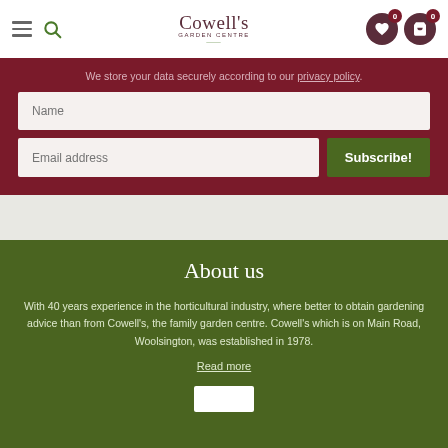Cowell's Garden Centre — navigation bar with hamburger menu, search icon, logo, wishlist and cart icons
We store your data securely according to our privacy policy.
Name (input field)
Email address (input field)
Subscribe! (button)
About us
With 40 years experience in the horticultural industry, where better to obtain gardening advice than from Cowell's, the family garden centre. Cowell's which is on Main Road, Woolsington, was established in 1978.
Read more